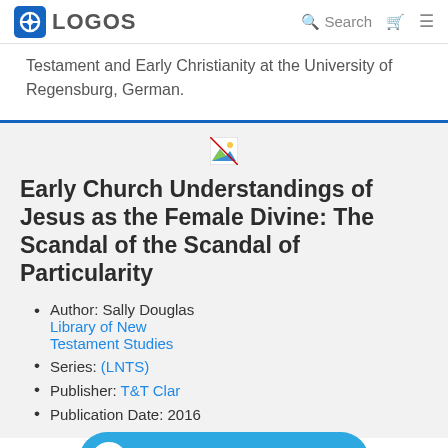LOGOS | Search
Testament and Early Christianity at the University of Regensburg, German.
[Figure (other): Broken image placeholder icon]
Early Church Understandings of Jesus as the Female Divine: The Scandal of the Scandal of Particularity
Author: Sally Douglas
Library of New Testament Studies
Series: (LNTS)
Publisher: T&T Clark
Publication Date: 2016